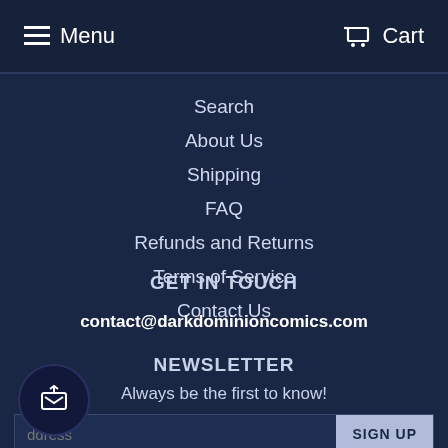Menu  Cart
Search
About Us
Shipping
FAQ
Refunds and Returns
Terms of Service
Contact Us
GET IN TOUCH
contact@darkdominioncomics.com
NEWSLETTER
Always be the first to know!
ddress  SIGN UP